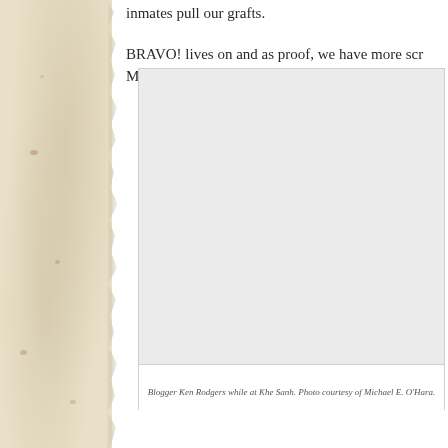BRAVO! lives on and as proof, we have more scr… March.
[Figure (photo): Blogger Ken Rodgers while at Khe Sanh. Large photograph showing a person at the location.]
Blogger Ken Rodgers while at Khe Sanh. Photo courtesy of Michael E. O'Hara.